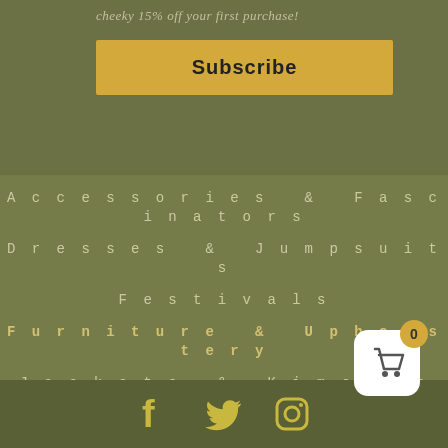cheeky 15% off your first purchase!
Subscribe
Accessories & Fascinators
Dresses & Jumpsuits
Festivals
Furniture & Upholstery
Jackets & Kimonos
skirts & shorts
Tops & Trousers
[Figure (infographic): Social media icons: Facebook, Twitter, Instagram, and shopping cart button with badge showing 0]